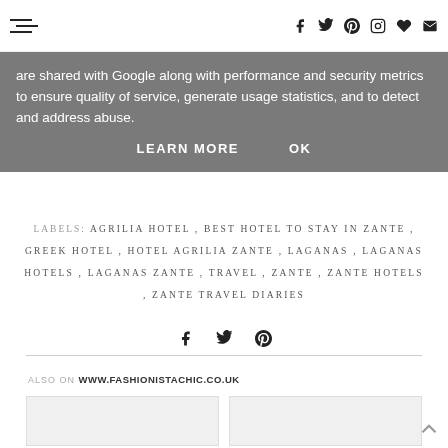[Navigation bar with menu icon and social icons: f, twitter, pinterest, instagram, heart, email]
are shared with Google along with performance and security metrics to ensure quality of service, generate usage statistics, and to detect and address abuse.
LEARN MORE   OK
LABELS: AGRILIA HOTEL , BEST HOTEL TO STAY IN ZANTE , GREEK HOTEL , HOTEL AGRILIA ZANTE , LAGANAS , LAGANAS HOTELS , LAGANAS ZANTE , TRAVEL , ZANTE , ZANTE HOTELS , ZANTE TRAVEL DIARIES
[Figure (other): Social share icons: Facebook, Twitter, Pinterest]
ALSO ON WWW.FASHIONISTACHIC.CO.UK